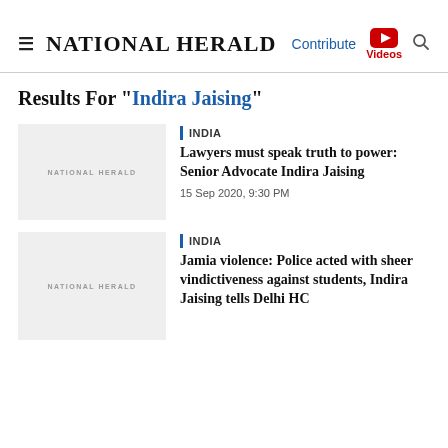NATIONAL HERALD | Contribute | Videos
Results For "Indira Jaising"
[Figure (logo): National Herald placeholder thumbnail]
INDIA
Lawyers must speak truth to power: Senior Advocate Indira Jaising
15 Sep 2020, 9:30 PM
[Figure (logo): National Herald placeholder thumbnail]
INDIA
Jamia violence: Police acted with sheer vindictiveness against students, Indira Jaising tells Delhi HC